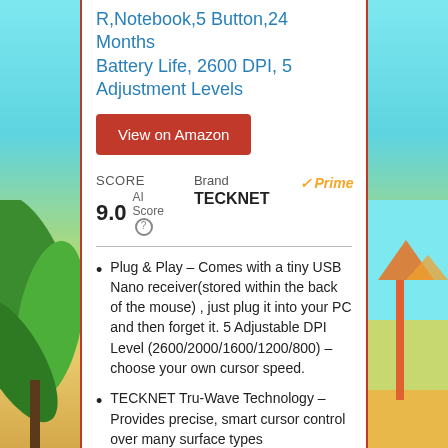R,Notebook,5 Button,24 Months Battery Life, 2600 DPI, 5 Adjustment Levels
View on Amazon
SCORE 9.0  AI Score   Brand TECKNET  Prime
Plug & Play – Comes with a tiny USB Nano receiver(stored within the back of the mouse) , just plug it into your PC and then forget it. 5 Adjustable DPI Level (2600/2000/1600/1200/800) – choose your own cursor speed.
TECKNET Tru-Wave Technology – Provides precise, smart cursor control over many surface types